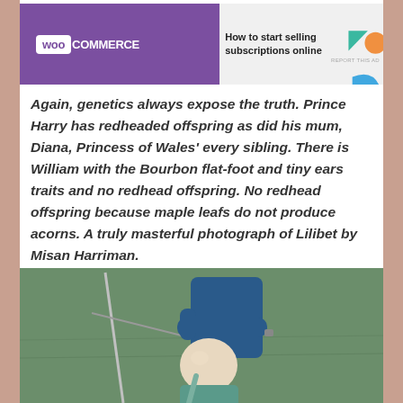[Figure (other): WooCommerce advertisement banner: purple background on left with WooCommerce logo, white/grey background on right with text 'How to start selling subscriptions online', decorative shapes in teal, orange, and blue, 'REPORT THIS AD' link at bottom right]
Again, genetics always expose the truth. Prince Harry has redheaded offspring as did his mum, Diana, Princess of Wales' every sibling. There is William with the Bourbon flat-foot and tiny ears traits and no redhead offspring. No redhead offspring because maple leafs do not produce acorns. A truly masterful photograph of Lilibet by Misan Harriman.
[Figure (photo): Photo of a bald man seen from behind, wearing a teal/blue top with a backpack strap visible, another person in a dark blue t-shirt with arms crossed standing in front of him, on a green grass background]